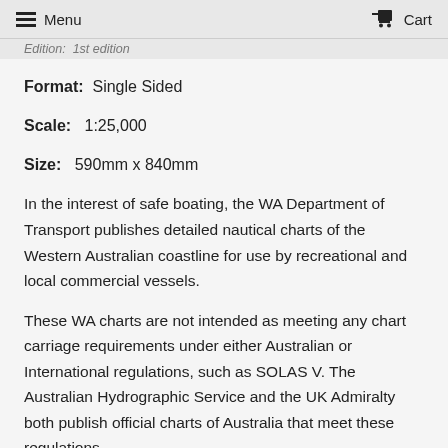Menu   Cart
Edition:  1st edition
Format:  Single Sided
Scale:  1:25,000
Size:  590mm x 840mm
In the interest of safe boating, the WA Department of Transport publishes detailed nautical charts of the Western Australian coastline for use by recreational and local commercial vessels.
These WA charts are not intended as meeting any chart carriage requirements under either Australian or International regulations, such as SOLAS V. The Australian Hydrographic Service and the UK Admiralty both publish official charts of Australia that meet these regulations.